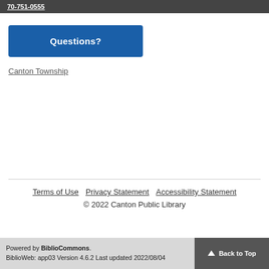70-751-0555
Questions?
Canton Township
Terms of Use  Privacy Statement  Accessibility Statement
© 2022 Canton Public Library
Powered by BiblioCommons.
BiblioWeb: app03 Version 4.6.2 Last updated 2022/08/04
Back to Top